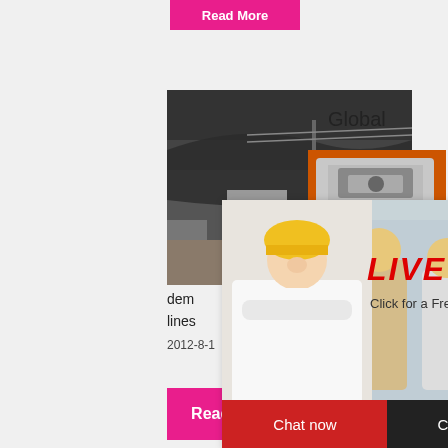Read More
[Figure (photo): Industrial site photo with dark tarp/covering and construction equipment]
Global
[Figure (photo): Orange sidebar with images of crushing/mining machines]
[Figure (screenshot): Live chat popup overlay with female worker in hard hat, 'LIVE CHAT' text, 'Click for a Free Consultation', Chat now and Chat later buttons]
dem
lines
2012-8-1   Global demands manufacture...
Enjoy 3% discount
Click to Chat
Enquiry
limingjlmofen@sina.com
Read More